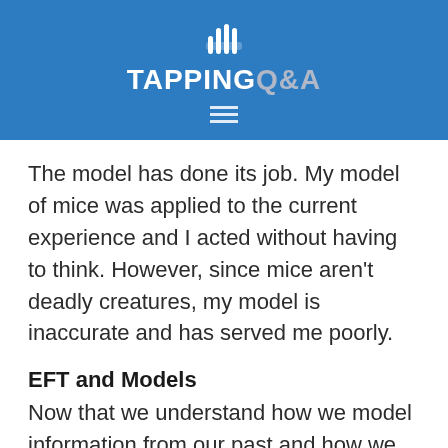TAPPING Q&A
The model has done its job. My model of mice was applied to the current experience and I acted without having to think. However, since mice aren't deadly creatures, my model is inaccurate and has served me poorly.
EFT and Models
Now that we understand how we model information from our past and how we use these models to inform our choices, we can